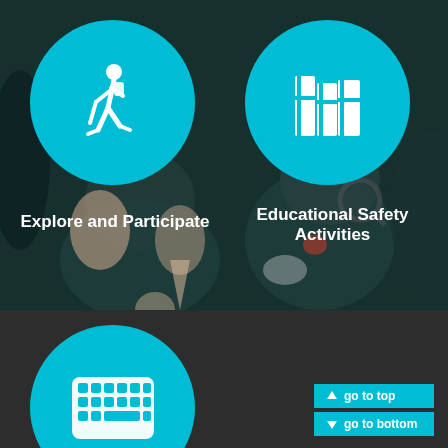[Figure (illustration): Screenshot of an app/website interface showing two cyan circular icon buttons on a dark illustrated background with cartoon characters. Top-left circle has a hiker/walking person icon, top-right circle has stacked books icon. Bottom section has a third cyan circle with a keyboard icon. Navigation buttons bottom-right.]
Explore and Participate
Educational Safety Activities
go to top
go to bottom